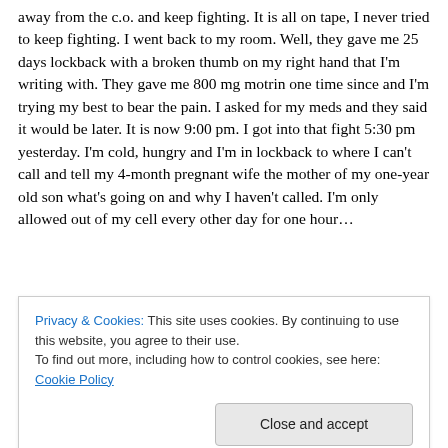away from the c.o. and keep fighting. It is all on tape, I never tried to keep fighting. I went back to my room. Well, they gave me 25 days lockback with a broken thumb on my right hand that I'm writing with. They gave me 800 mg motrin one time since and I'm trying my best to bear the pain. I asked for my meds and they said it would be later. It is now 9:00 pm. I got into that fight 5:30 pm yesterday. I'm cold, hungry and I'm in lockback to where I can't call and tell my 4-month pregnant wife the mother of my one-year old son what's going on and why I haven't called. I'm only allowed out of my cell every other day for one hour…
Privacy & Cookies: This site uses cookies. By continuing to use this website, you agree to their use.
To find out more, including how to control cookies, see here: Cookie Policy
Close and accept
Not only the young blacks it is all inmates who are